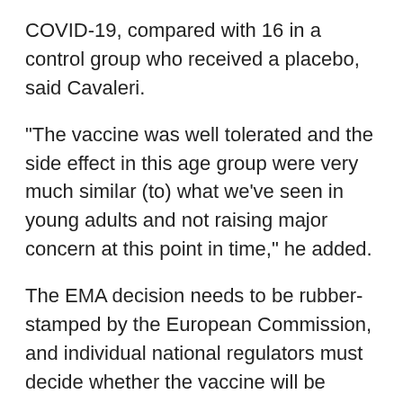COVID-19, compared with 16 in a control group who received a placebo, said Cavaleri.
"The vaccine was well tolerated and the side effect in this age group were very much similar (to) what we've seen in young adults and not raising major concern at this point in time," he added.
The EMA decision needs to be rubber-stamped by the European Commission, and individual national regulators must decide whether the vaccine will be administered to children under 16.
The recommendation follows similar decisions by regulators in Canada and the U.S. last month, as rich countries slowly approach their vaccination targets for adults and look to immunize as many people as